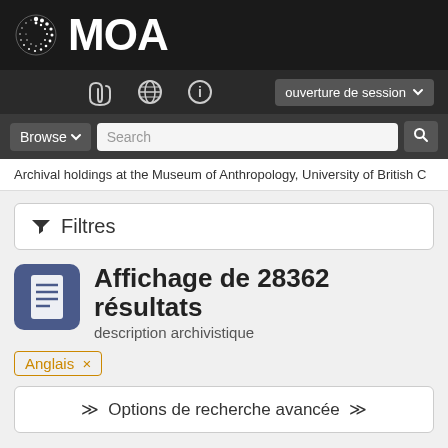MOA
ouverture de session
Browse  Search
Archival holdings at the Museum of Anthropology, University of British C
▼ Filtres
Affichage de 28362 résultats
description archivistique
Anglais ×
≫ Options de recherche avancée ≫
Aperçu avant impression   Hierarchy  Affichage :
Trier par: Pertinence ▼  Direction: Décroissant ▼